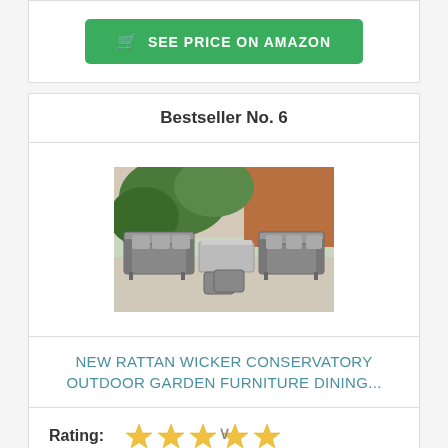[Figure (other): Green 'SEE PRICE ON AMAZON' button with shopping cart icon (top, partial card)]
Bestseller No. 6
[Figure (photo): Rattan wicker outdoor garden furniture dining set with grey cushions, comprising sofa, chairs, and ottomans, displayed in garden setting]
NEW RATTAN WICKER CONSERVATORY OUTDOOR GARDEN FURNITURE DINING...
Rating: ★★★★★
[Figure (other): Green 'SEE PRICE ON AMAZON' button with shopping cart icon (bottom of card)]